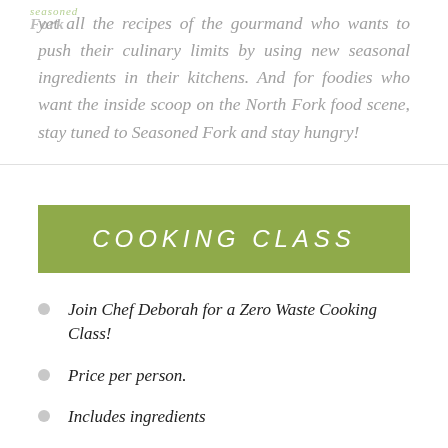yet all the recipes of the gourmand who wants to push their culinary limits by using new seasonal ingredients in their kitchens. And for foodies who want the inside scoop on the North Fork food scene, stay tuned to Seasoned Fork and stay hungry!
COOKING CLASS
Join Chef Deborah for a Zero Waste Cooking Class!
Price per person.
Includes ingredients
Class Instruction
Lunch and glass of wine